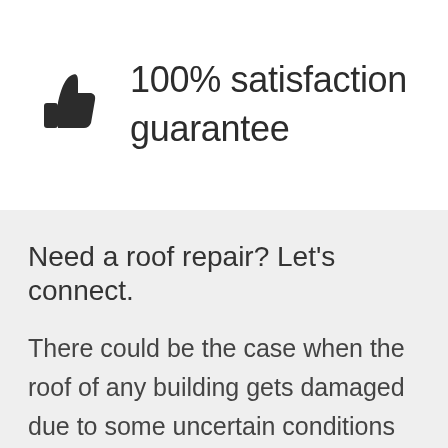[Figure (illustration): Thumbs up icon (like symbol) in dark outline style]
100% satisfaction guarantee
Need a roof repair? Let's connect.
There could be the case when the roof of any building gets damaged due to some uncertain conditions